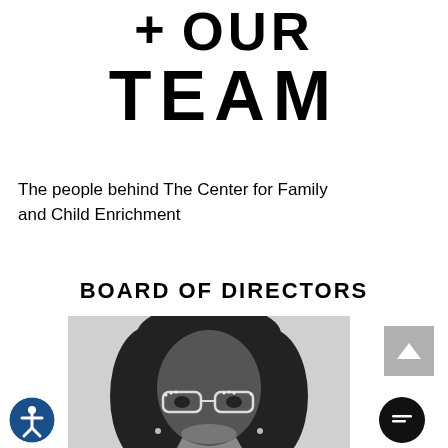+ OUR TEAM
The people behind The Center for Family and Child Enrichment
BOARD OF DIRECTORS
[Figure (photo): Black and white portrait photo of a woman with glasses and long hair, cropped at chest level]
[Figure (other): Gray back-to-top button with upward chevron arrow]
[Figure (other): Circular accessibility icon button with person figure]
[Figure (other): Dark circular chat/message button]